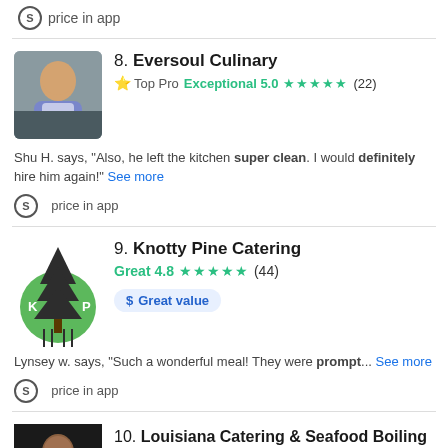price in app
8. Eversoul Culinary
Top Pro Exceptional 5.0 ★★★★★ (22)
Shu H. says, "Also, he left the kitchen super clean. I would definitely hire him again!" See more
price in app
9. Knotty Pine Catering
Great 4.8 ★★★★★ (44)
$ Great value
Lynsey w. says, "Such a wonderful meal! They were prompt... See more
price in app
10. Louisiana Catering & Seafood Boiling